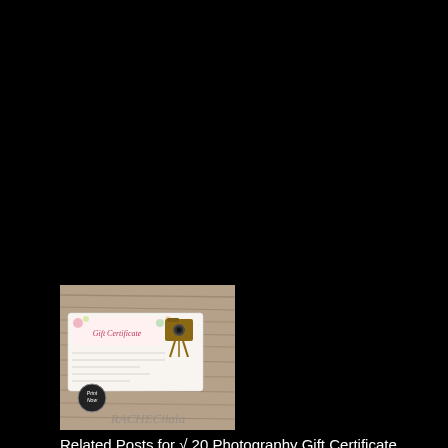[Figure (photo): Thumbnail image of a photography gift certificate template on a rustic wood background, with a vintage camera on a tripod, floral decorations, and 'Gift Certificate' text in script. A 'Print Now' badge and 'RACHECilala' watermark are visible.]
Related Posts for √ 20 Photography Gift Certificate Template Free Download ™
√ 20 Mother's Day Gift Certificate Template Free Download ™